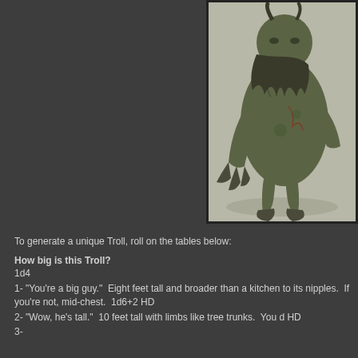[Figure (illustration): A large green-grey troll creature with horns, hunched posture, massive clawed hands, and decaying flesh, depicted in a dark fantasy art style against a light background.]
To generate a unique Troll, roll on the tables below:
How big is this Troll?
1d4
1- "You're a big guy."  Eight feet tall and broader than a kitchen to its nipples.  If you're not, mid-chest.  1d6+2 HD
2- "Wow, he's tall."  10 feet tall with limbs like tree trunks.  You d HD
3-